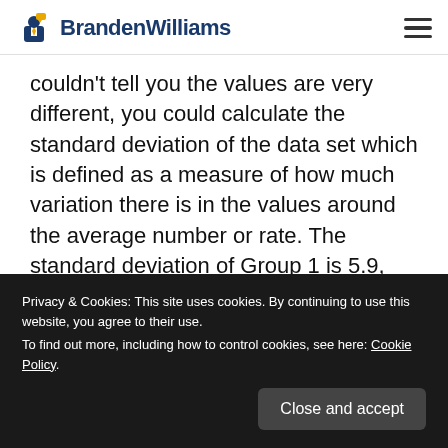Branden Williams
couldn't tell you the values are very different, you could calculate the standard deviation of the data set which is defined as a measure of how much variation there is in the values around the average number or rate. The standard deviation of Group 1 is 5.9, and Group 2 is
Privacy & Cookies: This site uses cookies. By continuing to use this website, you agree to their use.
To find out more, including how to control cookies, see here: Cookie Policy.